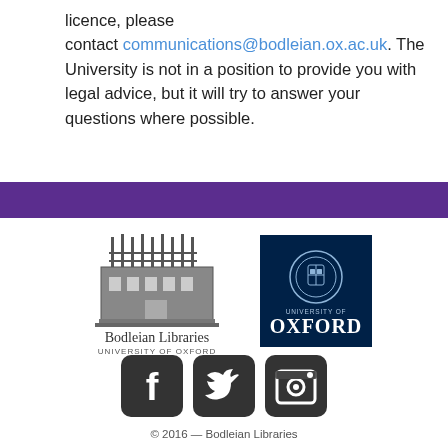licence, please contact communications@bodleian.ox.ac.uk. The University is not in a position to provide you with legal advice, but it will try to answer your questions where possible.
[Figure (logo): Purple horizontal bar divider]
[Figure (logo): Bodleian Libraries University of Oxford logo with building illustration]
[Figure (logo): University of Oxford dark blue logo box with crest]
[Figure (logo): Social media icons: Facebook, Twitter, Instagram]
© 2016 — Bodleian Libraries
Accessibility | Privacy Policy | Terms of Use | Cookies